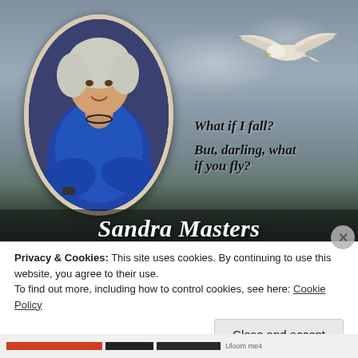[Figure (illustration): Book or blog cover image: woman in blue jacket in oval portrait frame on left, seagull in flight upper right, moody sky background with dark silhouetted buildings at bottom. Text overlay with quote 'What if I fall? But, darling, what if you fly?' and name 'Sandra Masters' at the bottom.]
Privacy & Cookies: This site uses cookies. By continuing to use this website, you agree to their use.
To find out more, including how to control cookies, see here: Cookie Policy
Close and accept